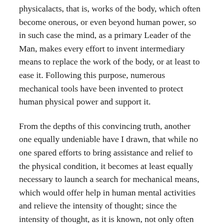physicalacts, that is, works of the body, which often become onerous, or even beyond human power, so in such case the mind, as a primary Leader of the Man, makes every effort to invent intermediary means to replace the work of the body, or at least to ease it. Following this purpose, numerous mechanical tools have been invented to protect human physical power and support it.
From the depths of this convincing truth, another one equally undeniable have I drawn, that while no one spared efforts to bring assistance and relief to the physical condition, it becomes at least equally necessary to launch a search for mechanical means, which would offer help in human mental activities and relieve the intensity of thought; since the intensity of thought, as it is known, not only often impairs the subtlety of organs, deadens the wit, degrades memory, but also, even causes weakening of the body.